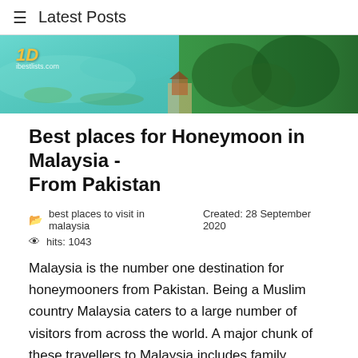≡  Latest Posts
[Figure (photo): Aerial banner image showing turquoise water with coral on the left half and dense tropical green forest on the right half, with a logo reading '1D' and 'ibestlists.com' in the upper left corner.]
Best places for Honeymoon in Malaysia - From Pakistan
best places to visit in malaysia    Created: 28 September 2020
hits: 1043
Malaysia is the number one destination for honeymooners from Pakistan. Being a Muslim country Malaysia caters to a large number of visitors from across the world. A major chunk of these travellers to Malaysia includes family travellers and honeymooners from the Middle East and other Muslim countries. Cheap accommodation, a wide range of tourist destinations, excellent shopping, and a fast...